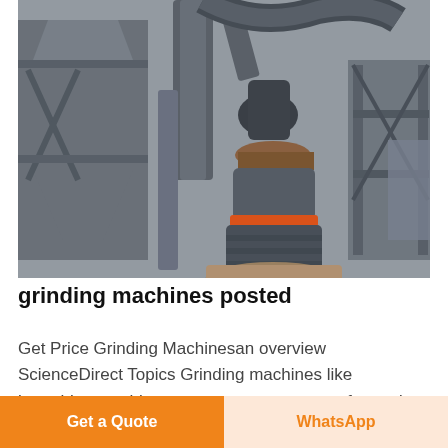[Figure (photo): Industrial grinding mill machine with large cylindrical body, orange band accent, pipes and ductwork overhead, metallic industrial structure in background inside a factory setting.]
grinding machines posted
Get Price Grinding Machinesan overview ScienceDirect Topics Grinding machines like broaching machines operate over a range of speeds
Get a Quote
WhatsApp